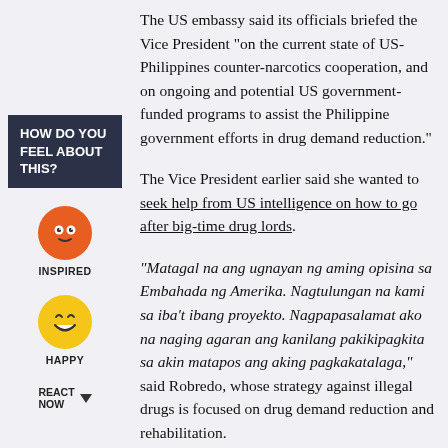HOW DO YOU FEEL ABOUT THIS?
[Figure (illustration): Orange circular emoji face with white dot eyes and small smile - INSPIRED emoji]
INSPIRED
[Figure (illustration): Yellow circular emoji face with squinting eyes and big grin - HAPPY emoji]
HAPPY
REACT NOW
The US embassy said its officials briefed the Vice President “on the current state of US-Philippines counter-narcotics cooperation, and on ongoing and potential US government-funded programs to assist the Philippine government efforts in drug demand reduction.”
The Vice President earlier said she wanted to seek help from US intelligence on how to go after big-time drug lords.
“Matagal na ang ugnayan ng aming opisina sa Embahada ng Amerika. Nagtulungan na kami sa iba’t ibang proyekto. Nagpapasalamat ako na naging agaran ang kanilang pakikipagkita sa akin matapos ang aking pagkakatalaga,” said Robredo, whose strategy against illegal drugs is focused on drug demand reduction and rehabilitation.